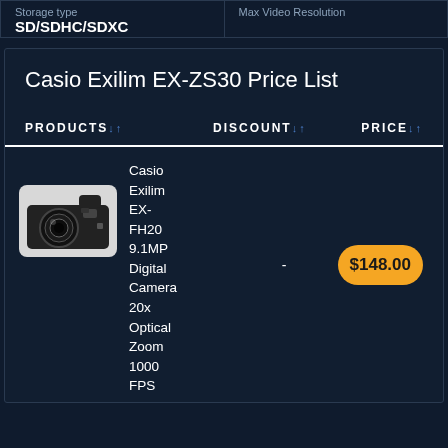| Storage type | Max Video Resolution |
| --- | --- |
| SD/SDHC/SDXC |  |
Casio Exilim EX-ZS30 Price List
| PRODUCTS | DISCOUNT | PRICE |
| --- | --- | --- |
| Casio Exilim EX-FH20 9.1MP Digital Camera 20x Optical Zoom 1000 FPS | - | $148.00 |